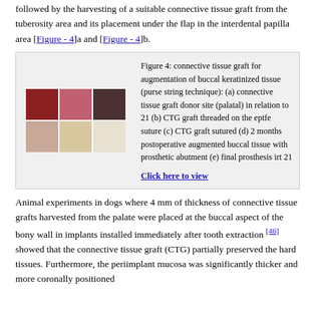followed by the harvesting of a suitable connective tissue graft from the tuberosity area and its placement under the flap in the interdental papilla area [Figure - 4]a and [Figure - 4]b.
[Figure (photo): Grid of clinical photographs showing connective tissue graft procedure steps: donor site, graft threading, suturing, postoperative results, and final prosthesis.]
Figure 4: connective tissue graft for augmentation of buccal keratinized tissue (purse string technique): (a) connective tissue graft donor site (palatal) in relation to 21 (b) CTG graft threaded on the eptfe suture (c) CTG graft sutured (d) 2 months postoperative augmented buccal tissue with prosthetic abutment (e) final prosthesis irt 21
Click here to view
Animal experiments in dogs where 4 mm of thickness of connective tissue grafts harvested from the palate were placed at the buccal aspect of the bony wall in implants installed immediately after tooth extraction [46] showed that the connective tissue graft (CTG) partially preserved the hard tissues. Furthermore, the periimplant mucosa was significantly thicker and more coronally positioned